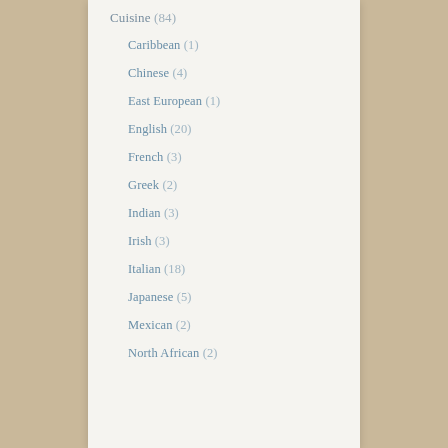Cuisine (84)
Caribbean (1)
Chinese (4)
East European (1)
English (20)
French (3)
Greek (2)
Indian (3)
Irish (3)
Italian (18)
Japanese (5)
Mexican (2)
North African (2)